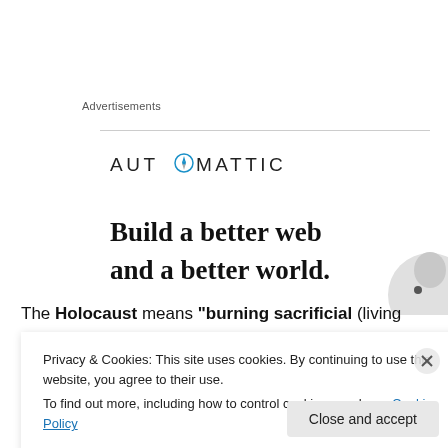Advertisements
[Figure (logo): Automattic logo with compass icon replacing the letter O]
[Figure (illustration): Advertisement with text 'Build a better web and a better world.' with partial circular image of a person on the right]
The Holocaust means “burning sacrificial (living
Privacy & Cookies: This site uses cookies. By continuing to use this website, you agree to their use.
To find out more, including how to control cookies, see here: Cookie Policy
Close and accept